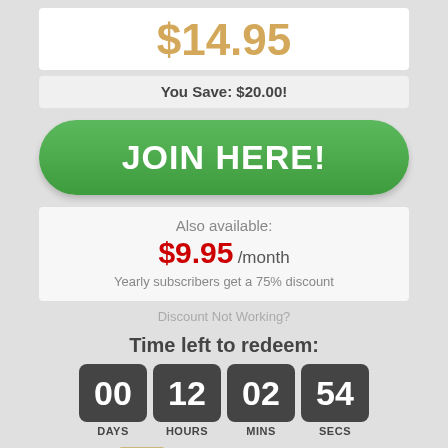$14.95
You Save: $20.00!
JOIN HERE!
Also available: $9.95 /month Yearly subscribers get a 75% discount
Discount Not Working?
Time left to redeem:
[Figure (other): Countdown timer showing 00 DAYS, 12 HOURS, 02 MINS, 54 SECS]
4444 memberships sold!